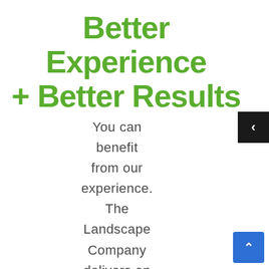Better Experience + Better Results
You can benefit from our experience. The Landscape Company delivers on its commitment to making